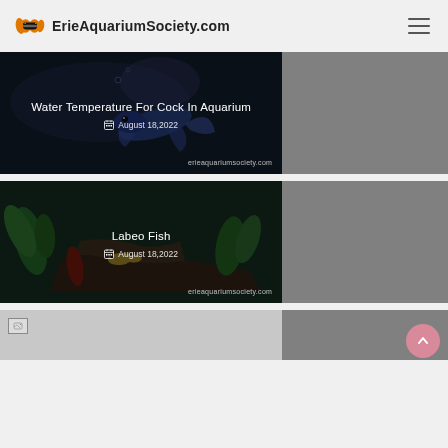[Figure (logo): ErieAquariumSociety.com logo with orange fish icon]
[Figure (photo): Article card: dark aquarium with blue Betta fish, title 'Water Temperature For Cock In Aquarium', date August 18,2022, watermark erieaquariumsociety.com]
[Figure (photo): Article card: aquarium with green plants and driftwood, title 'Labeo Fish', date August 18,2022, watermark erieaquariumsociety.com]
[Figure (photo): Article card (partial): broken image placeholder, gray background]